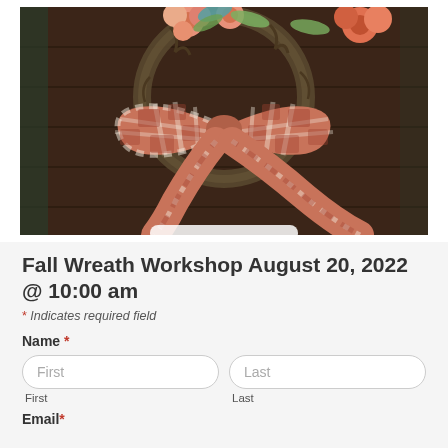[Figure (photo): A fall wreath made of grapevine with an orange and cream plaid bow tied at the bottom, hanging on a dark wooden background. Pink flowers are visible at the top of the wreath.]
Fall Wreath Workshop August 20, 2022 @ 10:00 am
* Indicates required field
Name *
First
Last
Email *